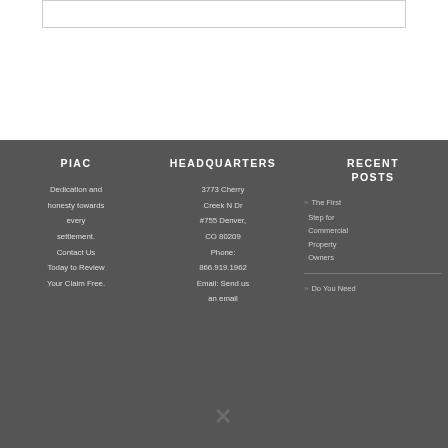PIAC
Dedication and honesty towards every settlement. Contact Us Today to Review Your Claim Free.
HEADQUARTERS
3773 Cherry Creek N Dr #755 Denver, CO 80209
Phone: 866.919.1962
Email: Send us an email
RECENT POSTS
The First Step for Commercial Property Owners
Do You Need